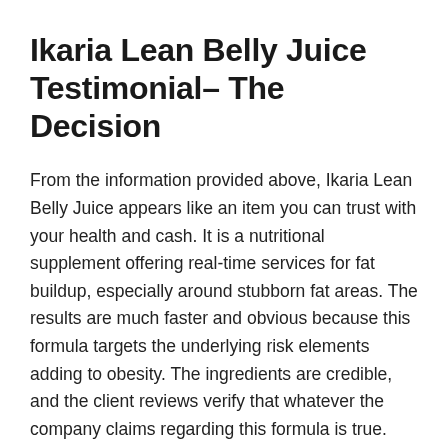Ikaria Lean Belly Juice Testimonial– The Decision
From the information provided above, Ikaria Lean Belly Juice appears like an item you can trust with your health and cash. It is a nutritional supplement offering real-time services for fat buildup, especially around stubborn fat areas. The results are much faster and obvious because this formula targets the underlying risk elements adding to obesity. The ingredients are credible, and the client reviews verify that whatever the company claims regarding this formula is true.